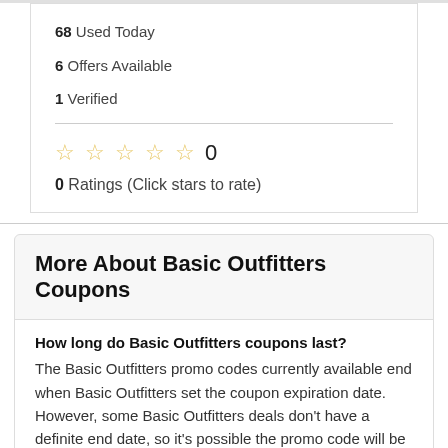68 Used Today
6 Offers Available
1 Verified
☆☆☆☆☆ 0
0 Ratings (Click stars to rate)
More About Basic Outfitters Coupons
How long do Basic Outfitters coupons last?
The Basic Outfitters promo codes currently available end when Basic Outfitters set the coupon expiration date. However, some Basic Outfitters deals don't have a definite end date, so it's possible the promo code will be active until Basic Outfitters runs out of inventory for the